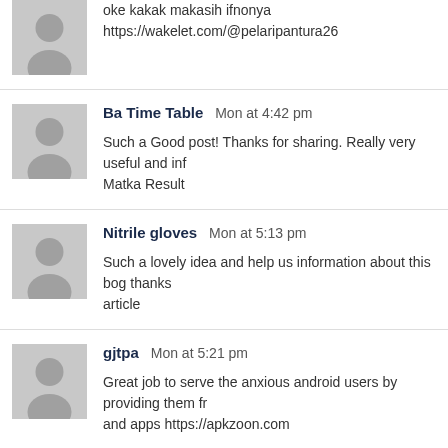oke kakak makasih ifnonya
https://wakelet.com/@pelaripantura26
Ba Time Table  Mon at 4:42 pm
Such a Good post! Thanks for sharing. Really very useful and inf
Matka Result
Nitrile gloves  Mon at 5:13 pm
Such a lovely idea and help us information about this bog thanks
article
gjtpa  Mon at 5:21 pm
Great job to serve the anxious android users by providing them fr
and apps https://apkzoon.com
dara  Tue at 11:49 am
เกมสล็อตออนไลน์ สล็อต click!!!
vegus888